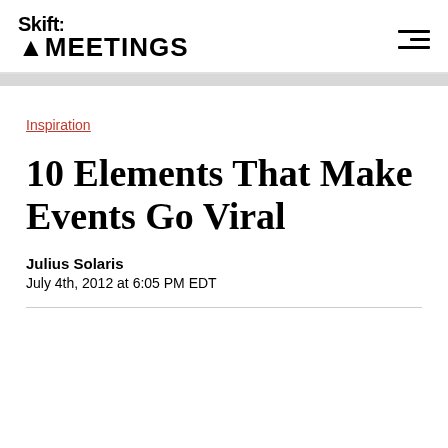Skift MEETINGS
Inspiration
10 Elements That Make Events Go Viral
Julius Solaris
July 4th, 2012 at 6:05 PM EDT